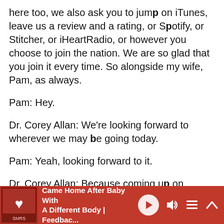here too, we also ask you to jump on iTunes, leave us a review and a rating, or Spotify, or Stitcher, or iHeartRadio, or however you choose to join the nation. We are so glad that you join it every time. So alongside my wife, Pam, as always.
Pam: Hey.
Dr. Corey Allan: We're looking forward to wherever we may be going today.
Pam: Yeah, looking forward to it.
Dr. Corey Allan: Because coming up on today's regular version, the free version, of
[Figure (other): Podcast player bar with red background showing episode title 'Came Home After Baby With A Different Body | Feedbac...' with play button, volume, playlist, and collapse controls]